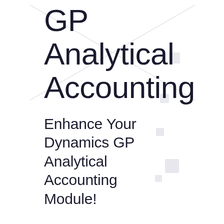GP Analytical Accounting
Enhance Your Dynamics GP Analytical Accounting Module!